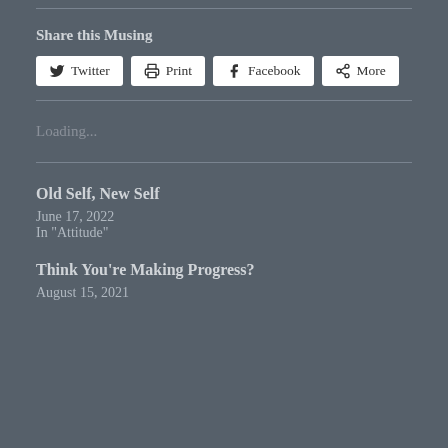Share this Musing
[Figure (screenshot): Social share buttons: Twitter, Print, Facebook, More]
Loading...
Old Self, New Self
June 17, 2022
In "Attitude"
Think You're Making Progress?
August 15, 2021